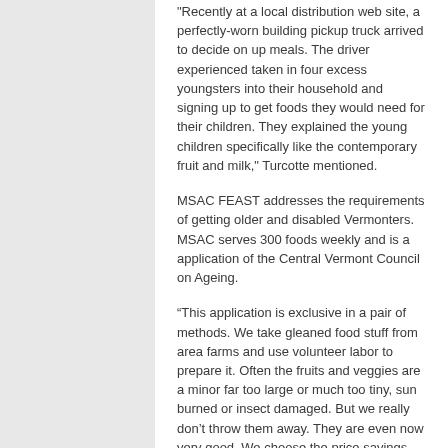"Recently at a local distribution web site, a perfectly-worn building pickup truck arrived to decide on up meals. The driver experienced taken in four excess youngsters into their household and signing up to get foods they would need for their children. They explained the young children specifically like the contemporary fruit and milk," Turcotte mentioned.
MSAC FEAST addresses the requirements of getting older and disabled Vermonters. MSAC serves 300 foods weekly and is a application of the Central Vermont Council on Ageing.
“This application is exclusive in a pair of methods. We take gleaned food stuff from area farms and use volunteer labor to prepare it. Often the fruits and veggies are a minor far too large or much too tiny, sun burned or insect damaged. But we really don’t throw them away. They are even now very good. We choose the price savings from these donated local food items and expense change into entire grains, nuts, fresh new meat and fish